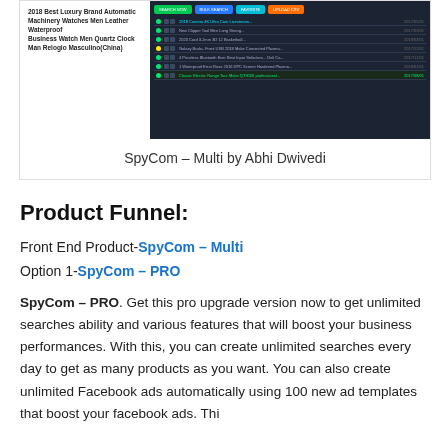[Figure (screenshot): Screenshot showing a product listing panel on the left with text about Luxury Brand Automatic Machinery Watches Men Leather Waterproof Business Watch Men Quartz Clock Man Relogio Masculino(China), and a dark-themed data dashboard interface on the right with colored action buttons and rows of product data.]
SpyCom – Multi by Abhi Dwivedi
Product Funnel:
Front End Product-SpyCom – Multi
Option 1-SpyCom – PRO
SpyCom – PRO. Get this pro upgrade version now to get unlimited searches ability and various features that will boost your business performances. With this, you can create unlimited searches every day to get as many products as you want. You can also create unlimited Facebook ads automatically using 100 new ad templates that boost your facebook ads. Thi